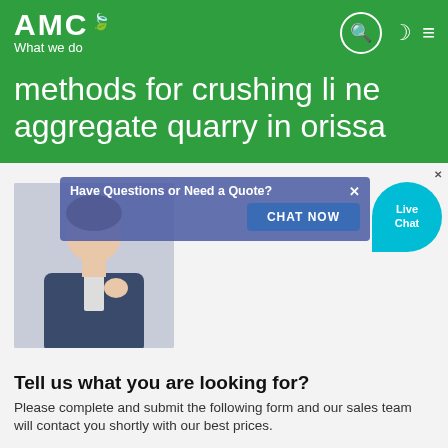AMC
What we do
methods for crushing li ne aggregate quarry in orissa
Tell us what you are looking for?
Please complete and submit the following form and our sales team will contact you shortly with our best prices.
Name: *
As: Tom
Email: *
As: vip@shanghaimeilan.com
Phone: *
With Country Code